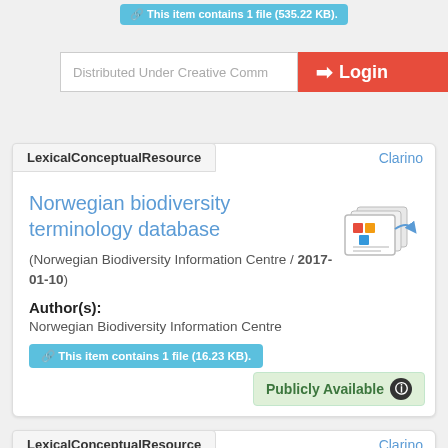This item contains 1 file (535.22 KB).
Distributed Under Creative Comm...
Login
LexicalConceptualResource
Clarino
Norwegian biodiversity terminology database
(Norwegian Biodiversity Information Centre / 2017-01-10)
Author(s): Norwegian Biodiversity Information Centre
This item contains 1 file (16.23 KB).
Publicly Available
LexicalConceptualResource
Clarino
Norwegian Bokmål-Kven